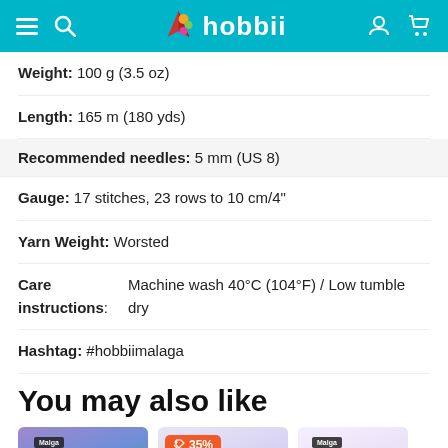hobbii
Weight: 100 g (3.5 oz)
Length: 165 m (180 yds)
Recommended needles: 5 mm (US 8)
Gauge: 17 stitches, 23 rows to 10 cm/4"
Yarn Weight: Worsted
Care instructions: Machine wash 40°C (104°F) / Low tumble dry
Hashtag: #hobbiimalaga
You may also like
[Figure (photo): Three product cards showing yarn skeins with sale badges. First card: SAVE 36%, Second card: 35% discount tag and SAVE 20% badge, Third card: yarn skeins (partially visible). Navigation arrows on left and right. Chat bubble icon bottom right.]